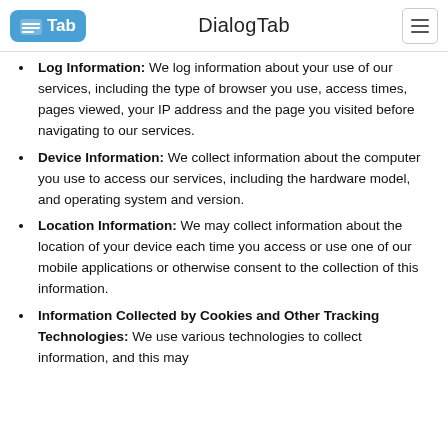DialogTab
Log Information: We log information about your use of our services, including the type of browser you use, access times, pages viewed, your IP address and the page you visited before navigating to our services.
Device Information: We collect information about the computer you use to access our services, including the hardware model, and operating system and version.
Location Information: We may collect information about the location of your device each time you access or use one of our mobile applications or otherwise consent to the collection of this information.
Information Collected by Cookies and Other Tracking Technologies: We use various technologies to collect information, and this may